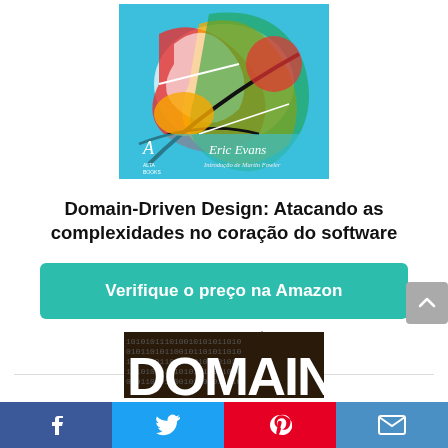[Figure (photo): Book cover of Domain-Driven Design by Eric Evans, published by Alta Books, with abstract colorful painting and text 'Eric Evans, Introdução de Martin Fowler']
Domain-Driven Design: Atacando as complexidades no coração do software
Verifique o preço na Amazon
Amazon.com.br
Free shipping
[Figure (photo): Partial book cover showing the word DOMAIN in large white letters on a dark background with binary code pattern]
[Figure (other): Social media share bar with Facebook, Twitter, Pinterest, and email icons]